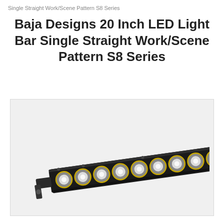Single Straight Work/Scene Pattern S8 Series
Baja Designs 20 Inch LED Light Bar Single Straight Work/Scene Pattern S8 Series
[Figure (photo): A Baja Designs 20 inch LED light bar (S8 Series) shown on a light gray background. The light bar is a long, black rectangular housing with approximately 20 circular LED lenses arranged in a single row. The lenses have silver reflectors with gold/amber accent rings. Mounting brackets are visible on each end. The bar is angled slightly for the photo.]